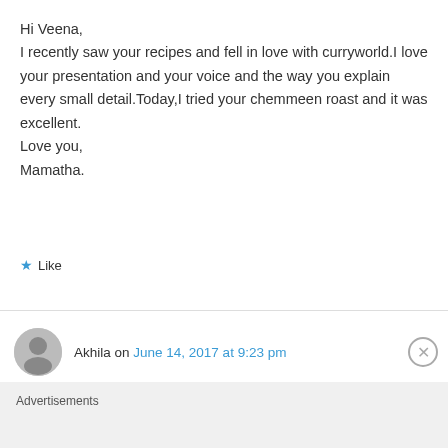Hi Veena,
I recently saw your recipes and fell in love with curryworld.I love your presentation and your voice and the way you explain every small detail.Today,I tried your chemmeen roast and it was excellent.
Love you,
Mamatha.
★ Like
Akhila on June 14, 2017 at 9:23 pm
Advertisements